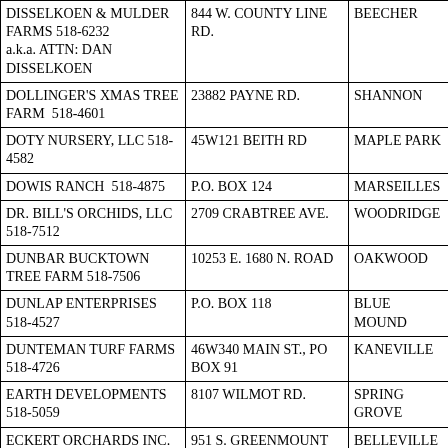| DISSELKOEN & MULDER FARMS 518-6232
a.k.a. ATTN: DAN DISSELKOEN | 844 W. COUNTY LINE RD. | BEECHER |
| DOLLINGER'S XMAS TREE FARM  518-4601 | 23882 PAYNE RD. | SHANNON |
| DOTY NURSERY, LLC 518-4582 | 45W121 BEITH RD | MAPLE PARK |
| DOWIS RANCH  518-4875 | P.O. BOX 124 | MARSEILLES |
| DR. BILL'S ORCHIDS, LLC 518-7512 | 2709 CRABTREE AVE. | WOODRIDGE |
| DUNBAR BUCKTOWN TREE FARM 518-7506 | 10253 E. 1680 N. ROAD | OAKWOOD |
| DUNLAP ENTERPRISES  518-4527 | P.O. BOX 118 | BLUE MOUND |
| DUNTEMAN TURF FARMS  518-4726 | 46W340 MAIN ST., PO BOX 91 | KANEVILLE |
| EARTH DEVELOPMENTS  518-5059 | 8107 WILMOT RD. | SPRING GROVE |
| ECKERT ORCHARDS INC. 518-4761 | 951 S. GREENMOUNT RD. | BELLEVILLE |